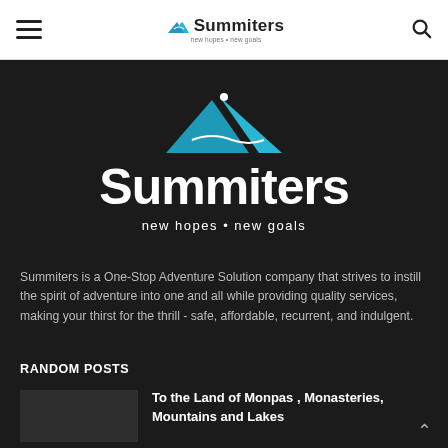Summiters — new hopes • new goals (navigation bar)
[Figure (logo): Summiters logo with mountain graphic, large white text 'Summiters' and tagline 'new hopes • new goals' on dark background]
Summiters is a One-Stop Adventure Solution company that strives to instill the spirit of adventure into one and all while providing quality services, making your thirst for the thrill - safe, affordable, recurrent, and indulgent.
RANDOM POSTS
To the Land of Monpas , Monasteries, Mountains and Lakes